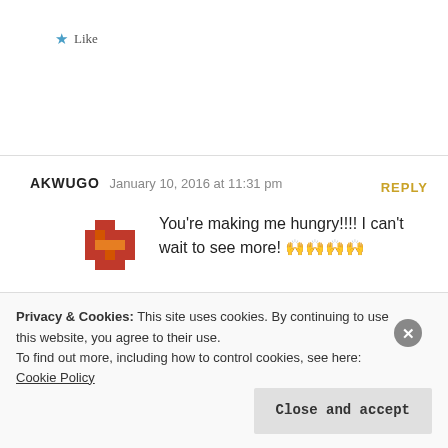★ Like
AKWUGO  January 10, 2016 at 11:31 pm  REPLY
You're making me hungry!!!! I can't wait to see more! 🙌🙌🙌🙌
★ Like
Privacy & Cookies: This site uses cookies. By continuing to use this website, you agree to their use. To find out more, including how to control cookies, see here: Cookie Policy
Close and accept